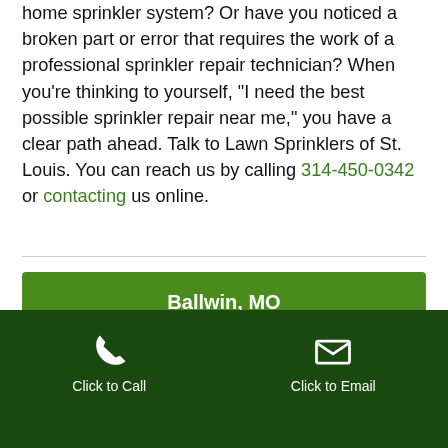home sprinkler system? Or have you noticed a broken part or error that requires the work of a professional sprinkler repair technician? When you're thinking to yourself, "I need the best possible sprinkler repair near me," you have a clear path ahead. Talk to Lawn Sprinklers of St. Louis. You can reach us by calling 314-450-0342 or contacting us online.
Ballwin, MO
Brentwood, MO
Click to Call | Click to Email